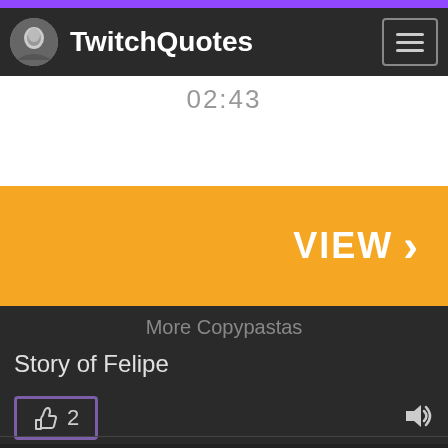TwitchQuotes
02:43
[Figure (other): Orange VIEW banner with right arrow chevron]
More Copypastas
Story of Felipe
👍 2